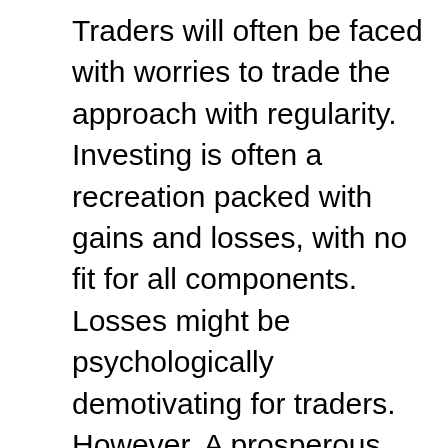Traders will often be faced with worries to trade the approach with regularity. Investing is often a recreation packed with gains and losses, with no fit for all components. Losses might be psychologically demotivating for traders. However, A prosperous trader is a person who will triumph over his emotions and stay composed after a stroke of failure and also learn in the issues he dedicated in previous. The speed of wins and losses are available an abrupt way, there is usually a few failures inside a row for just a trader, but it's not a compulsion that the fourth trade offer he helps make is usually going to remain futile for him. There are actually prospects he could make a take advantage of the subsequent trade, but by the time the trader reaches the fourth deal his passion